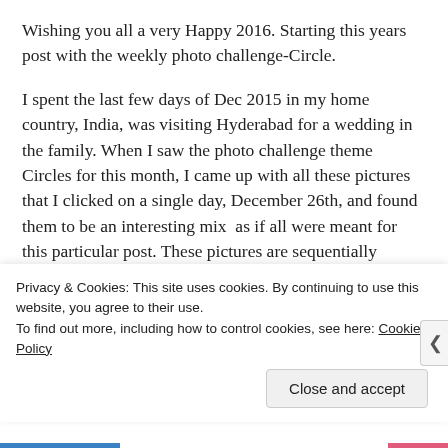Wishing you all a very Happy 2016. Starting this years post with the weekly photo challenge-Circle.
I spent the last few days of Dec 2015 in my home country, India, was visiting Hyderabad for a wedding in the family. When I saw the photo challenge theme Circles for this month, I came up with all these pictures that I clicked on a single day, December 26th, and found them to be an interesting mix  as if all were meant for this particular post. These pictures are sequentially posted here as they were clicked on that day.
My morning that day started by clicking this beautiful
Privacy & Cookies: This site uses cookies. By continuing to use this website, you agree to their use.
To find out more, including how to control cookies, see here: Cookie Policy